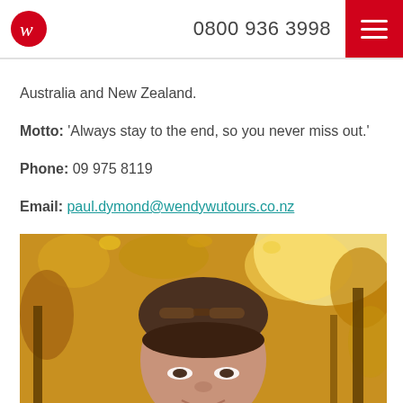0800 936 3998
Australia and New Zealand.
Motto: 'Always stay to the end, so you never miss out.'
Phone: 09 975 8119
Email: paul.dymond@wendywutours.co.nz
[Figure (photo): Close-up photo of a middle-aged woman with dark hair and sunglasses on her head, smiling, with autumn foliage background of yellow and golden leaves.]